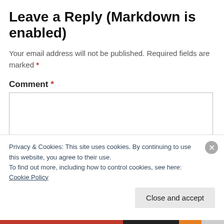Leave a Reply (Markdown is enabled)
Your email address will not be published. Required fields are marked *
Comment *
Privacy & Cookies: This site uses cookies. By continuing to use this website, you agree to their use.
To find out more, including how to control cookies, see here: Cookie Policy
Close and accept